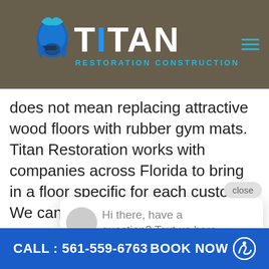[Figure (logo): Titan Restoration Construction logo with spartan helmet, white bold text TITAN with blue accent, and subtitle RESTORATION CONSTRUCTION in teal. Hamburger menu icon top right.]
does not mean replacing attractive wood floors with rubber gym mats. Titan Restoration works with companies across Florida to bring in a floor specific for each customer. We can install modular flooring created with a surface designed to reduce falls and help walkers and canes grip hold. These surfaces are also designed to hide scuff marks from wheelchair tips and use in the aging-in-place home.
Anot
CALL : 561-559-6763   BOOK NOW